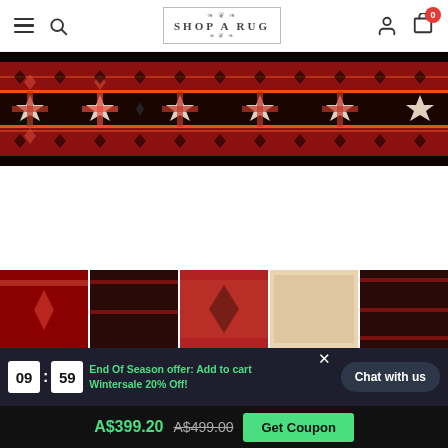SHOP A RUG — navigation header with hamburger menu, search icon, logo, user icon, cart (0)
[Figure (photo): Close-up photo of a traditional Persian/Afghan rug showing a repeating floral/geometric border pattern in red, black, cream and orange on a dark background]
[Figure (photo): Row of five rug thumbnail images at the bottom of the product page: red rug, dark rug, red patterned rug, cream/beige rug, dark rug]
End Of Season offer: Add to cart Wintersale 20% Off!
09 : 59
Chat with us
A$399.20  A$499.00  Get Coupon